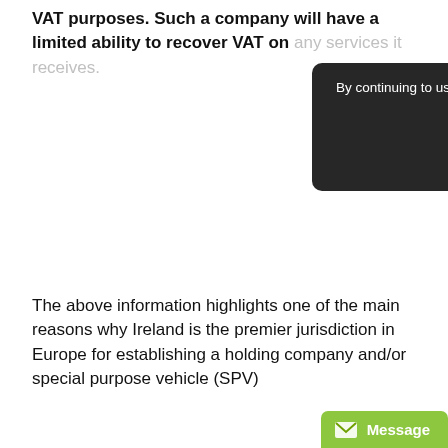VAT purposes. Such a company will have a limited ability to recover VAT on any services it receives.
[Figure (screenshot): Cookie consent popup overlay with dark background, text 'By continuing to use the site, you agree to the use of cookies. more information' with dotted underline, and an ACCEPT button.]
The above information highlights one of the main reasons why Ireland is the premier jurisdiction in Europe for establishing a holding company and/or special purpose vehicle (SPV)
For more information on how to register a company in Ireland today, please don't hesitate to contact Company Bureau on +353 1 6461625.
For professional tax advice and/or any questions on this article please contact Mr. Paul Dillon, Tax Partner. Duignan Carthy O'Neill Accountants on +353 1 6683165 or see www.dcon.ie
[Figure (screenshot): Green 'Message' button in bottom right corner with envelope icon.]